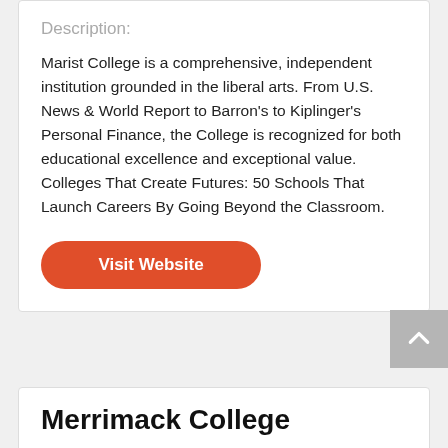Description:
Marist College is a comprehensive, independent institution grounded in the liberal arts. From U.S. News & World Report to Barron's to Kiplinger's Personal Finance, the College is recognized for both educational excellence and exceptional value. Colleges That Create Futures: 50 Schools That Launch Careers By Going Beyond the Classroom.
Visit Website
Merrimack College
State/Country: